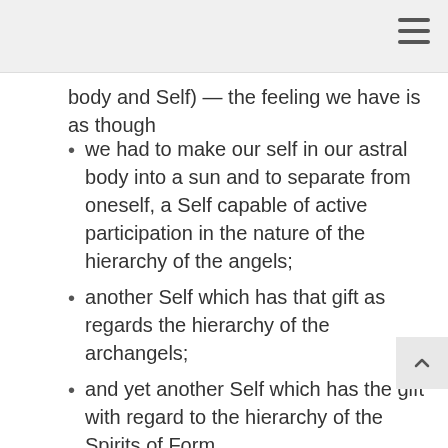≡
body and Self) — the feeling we have is as though
we had to make our self in our astral body into a sun and to separate from oneself, a Self capable of active participation in the nature of the hierarchy of the angels;
another Self which has that gift as regards the hierarchy of the archangels;
and yet another Self which has the gift with regard to the hierarchy of the Spirits of Form.
A fourth Self participates in the nature of the hierarchy of the Spirits of Motion,
a fifth in that of the hierarchy of the Spirits of Wisdom and of Will (Thrones),
a sixth Self or I in that of the hierarchy of the Cherubim,